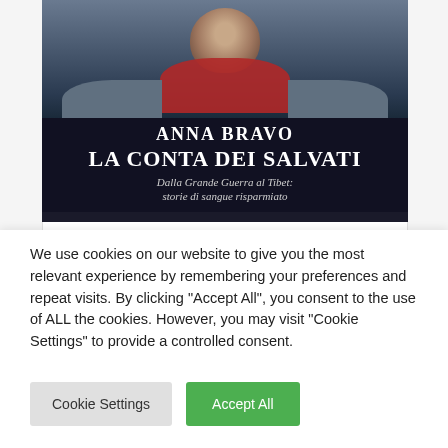[Figure (illustration): Book cover of 'La Conta dei Salvati' by Anna Bravo. Shows a person wearing a red scarf against a dark background, with large white serif text showing the author name and title, and italic subtitle 'Dalla Grande Guerra al Tibet: storie di sangue risparmiato'.]
[Figure (photo): Partial second book image showing a person's head/shoulder in grayscale.]
We use cookies on our website to give you the most relevant experience by remembering your preferences and repeat visits. By clicking "Accept All", you consent to the use of ALL the cookies. However, you may visit "Cookie Settings" to provide a controlled consent.